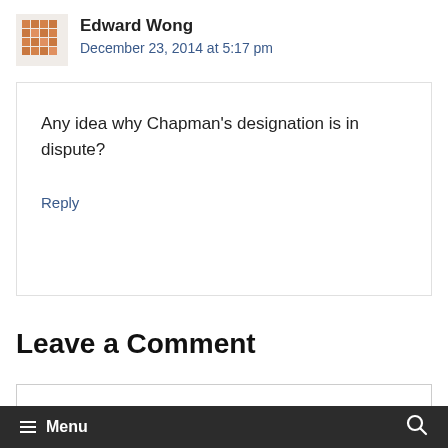[Figure (illustration): Orange pixelated/mosaic avatar icon for user Edward Wong]
Edward Wong
December 23, 2014 at 5:17 pm
Any idea why Chapman's designation is in dispute?
Reply
Leave a Comment
Menu